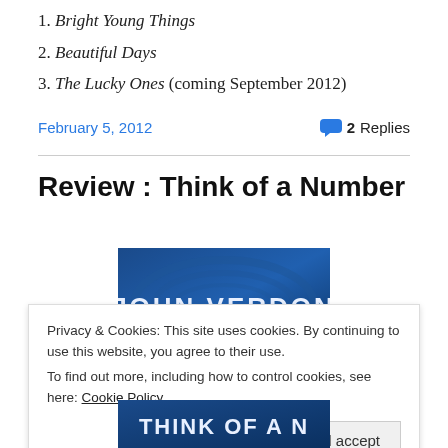1. Bright Young Things
2. Beautiful Days
3. The Lucky Ones (coming September 2012)
February 5, 2012
2 Replies
Review : Think of a Number
[Figure (photo): Book cover showing 'John Verdon' text in large white letters on a blue background]
Privacy & Cookies: This site uses cookies. By continuing to use this website, you agree to their use.
To find out more, including how to control cookies, see here: Cookie Policy
Close and accept